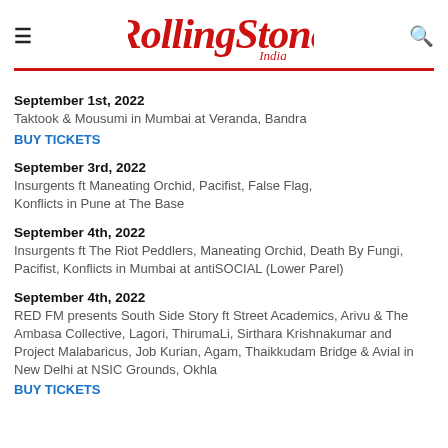Rolling Stone India
September 1st, 2022
Taktook & Mousumi in Mumbai at Veranda, Bandra
BUY TICKETS
September 3rd, 2022
Insurgents ft Maneating Orchid, Pacifist, False Flag, Konflicts in Pune at The Base
September 4th, 2022
Insurgents ft The Riot Peddlers, Maneating Orchid, Death By Fungi, Pacifist, Konflicts in Mumbai at antiSOCIAL (Lower Parel)
September 4th, 2022
RED FM presents South Side Story ft Street Academics, Arivu & The Ambasa Collective, Lagori, ThirumaLi, Sirthara Krishnakumar and Project Malabaricus, Job Kurian, Agam, Thaikkudam Bridge & Avial in New Delhi at NSIC Grounds, Okhla
BUY TICKETS